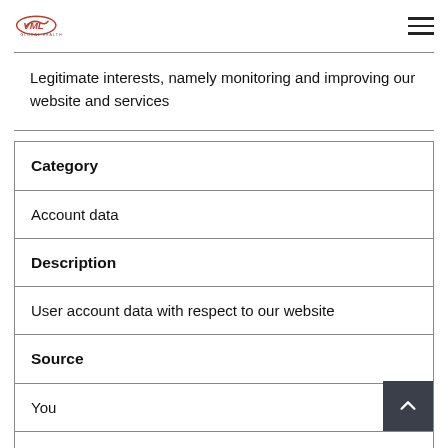VML Global Health
Legitimate interests, namely monitoring and improving our website and services
| Category | Description | Source | Purposes |
| --- | --- | --- | --- |
| Account data |
| User account data with respect to our website |
| You |
| Purposes |